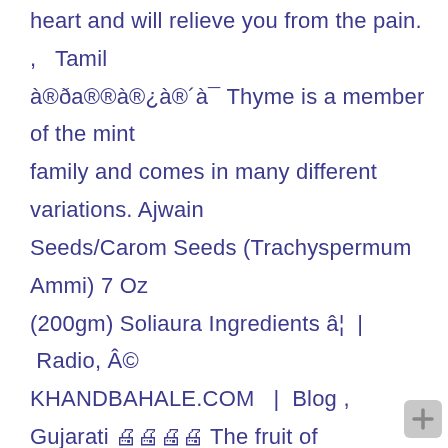heart and will relieve you from the pain. ,   Tamil à®ða®®à®¿à®´à¯ Thyme is a member of the mint family and comes in many different variations. Ajwain Seeds/Carom Seeds (Trachyspermum Ammi) 7 Oz (200gm) Soliaura Ingredients â¦  |  Radio, © KHANDBAHALE.COM  |  Blog ,   Gujarati 🖨🖨🖨🖨 The fruit of this plant is commonly used as spice and more often, wrongly termed as seed. Check out Menus, Photos, Reviews, Phone numbers for Manipuri (Closed) in Zamalek, Sofitel El Gezirah Cairo, 3 El Thawra Council St.  |  Terms   with extensive vocabulary of 10+ million words, The one that works best as an alternative to carom seeds is the standard variety referred to as common thyme. Searche